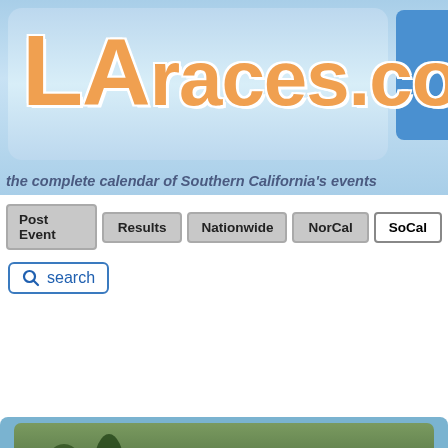[Figure (logo): LARaces.com logo on light blue banner background]
the complete calendar of Southern California's events
Post Event | Results | Nationwide | NorCal | SoCal
search
[Figure (photo): Runners at a race finish line or event, outdoor setting]